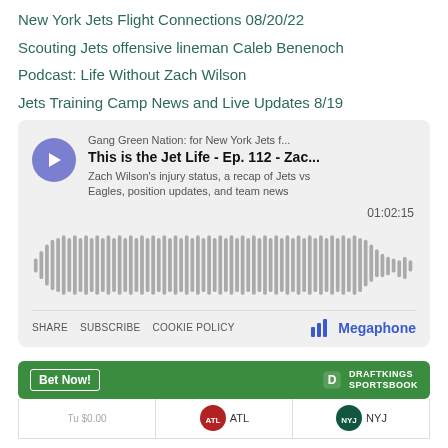New York Jets Flight Connections 08/20/22
Scouting Jets offensive lineman Caleb Benenoch
Podcast: Life Without Zach Wilson
Jets Training Camp News and Live Updates 8/19
[Figure (screenshot): Embedded podcast player for 'Gang Green Nation: for New York Jets f...' showing episode 'This is the Jet Life - Ep. 112 - Zac...' with description 'Zach Wilson's injury status, a recap of Jets vs Eagles, position updates, and team news', duration 01:02:15, with audio waveform visualization, and footer showing SHARE, SUBSCRIBE, COOKIE POLICY links and Megaphone logo]
[Figure (screenshot): DraftKings Sportsbook banner with 'Bet Now!' button and partial table row showing team logos for ATL and NYJ]